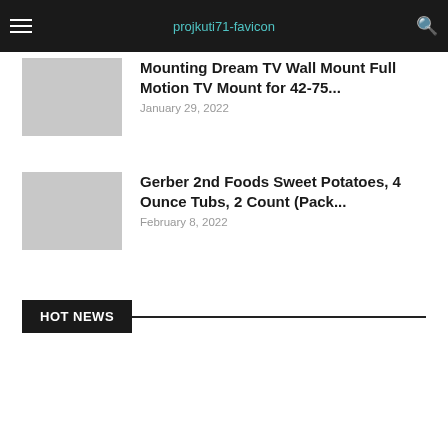projkuti71-favicon
Mounting Dream TV Wall Mount Full Motion TV Mount for 42-75...
January 29, 2022
Gerber 2nd Foods Sweet Potatoes, 4 Ounce Tubs, 2 Count (Pack...
February 8, 2022
HOT NEWS